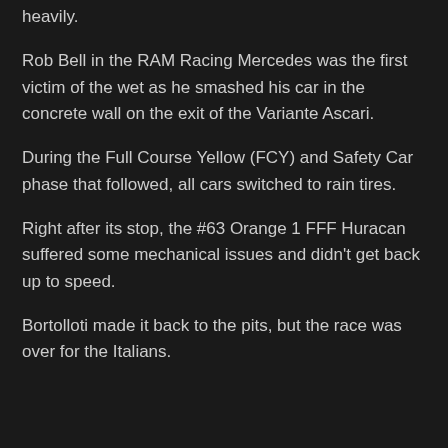heavily.
Rob Bell in the RAM Racing Mercedes was the first victim of the wet as he smashed his car in the concrete wall on the exit of the Variante Ascari.
During the Full Course Yellow (FCY) and Safety Car phase that followed, all cars switched to rain tires.
Right after its stop, the #63 Orange 1 FFF Huracan suffered some mechanical issues and didn't get back up to speed.
Bortolloti made it back to the pits, but the race was over for the Italians.